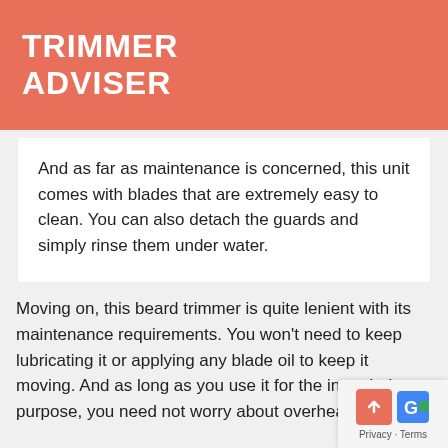TRIMMER ADVISER
And as far as maintenance is concerned, this unit comes with blades that are extremely easy to clean. You can also detach the guards and simply rinse them under water.
Moving on, this beard trimmer is quite lenient with its maintenance requirements. You won't need to keep lubricating it or applying any blade oil to keep it moving. And as long as you use it for the intended purpose, you need not worry about overheating either.